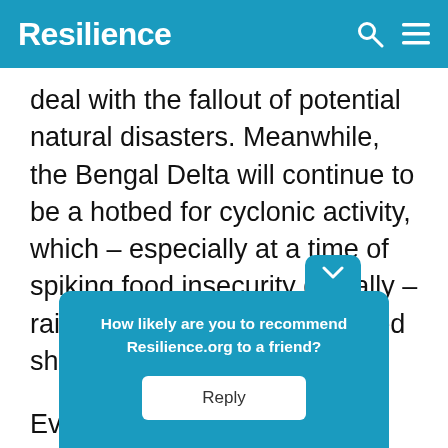Resilience
deal with the fallout of potential natural disasters. Meanwhile, the Bengal Delta will continue to be a hotbed for cyclonic activity, which – especially at a time of spiking food insecurity globally – raises fears of widespread food shortage and famine.
Even t... in Global... wn about...
[Figure (screenshot): A teal popup widget asking 'How likely are you to recommend Resilience.org to a friend?' with a Reply button.]